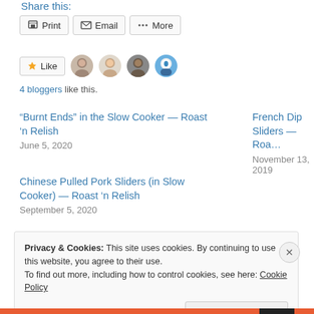Share this:
Print  Email  More
[Figure (other): Like button with star icon and four blogger avatar images]
4 bloggers like this.
“Burnt Ends” in the Slow Cooker — Roast ’n Relish
June 5, 2020
French Dip Sliders — Roa…
November 13, 2019
Chinese Pulled Pork Sliders (in Slow Cooker) — Roast ’n Relish
September 5, 2020
Privacy & Cookies: This site uses cookies. By continuing to use this website, you agree to their use.
To find out more, including how to control cookies, see here: Cookie Policy
Close and accept